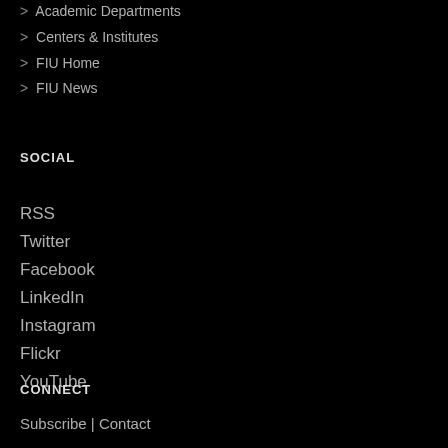> Academic Departments
> Centers & Institutes
> FIU Home
> FIU News
SOCIAL
RSS
Twitter
Facebook
LinkedIn
Instagram
Flickr
YouTube
CONNECT
Subscribe | Contact